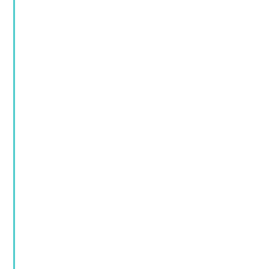Herein lies part of the problem
The professional non-partisan civil service is -- we are told -- suppose game, have a long shadow of the future. However digital technologie easy, intuitive, and expedient as possible are conspiring against thos 5 Things About Online Public Engagement).
It not a stretch to say that the same technologies that allow us to gath informed, and to make more evidence based and/or stakeholder inf technologies that create paralysis by analysis, jam our communicatio perception of risks associated with any course of action (presumably consequences).
Herein lies a possible solution
The Tamarack example is an interesting one to me because its analo people in the room and working them through a process within an ap the appropriate (and detailed!) supports. Its not too far off from the s ought to be spending 95% of our time defining the problem and 5% se
We often jump to digital as a driver of or potential solution to our mos ought to pause more often before we do. Perhaps we ought to recon solutions in the digital era.